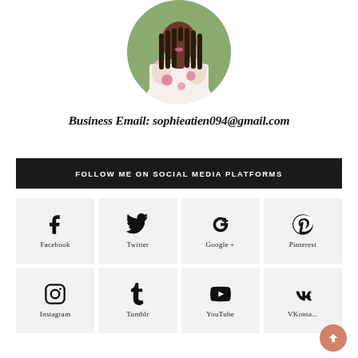[Figure (photo): Circular profile photo of a woman with braided hair wearing a white floral blazer, outdoors with green foliage background]
Business Email: sophieatien094@gmail.com
FOLLOW ME ON SOCIAL MEDIA PLATFORMS
[Figure (infographic): Social media icons grid with 8 platforms: Facebook, Twitter, Google+, Pinterest (top row); Instagram, Tumblr, YouTube, VKontakte (bottom row)]